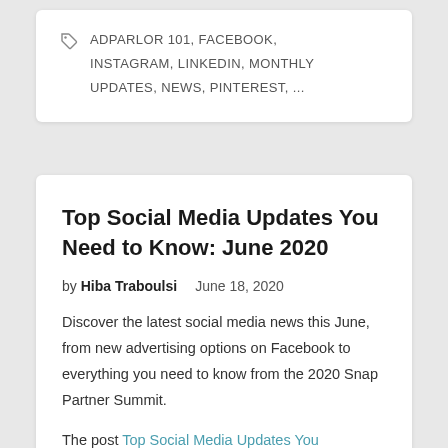ADPARLOR 101, FACEBOOK, INSTAGRAM, LINKEDIN, MONTHLY UPDATES, NEWS, PINTEREST, ...
Top Social Media Updates You Need to Know: June 2020
by Hiba Traboulsi   June 18, 2020
Discover the latest social media news this June, from new advertising options on Facebook to everything you need to know from the 2020 Snap Partner Summit.
The post Top Social Media Updates You